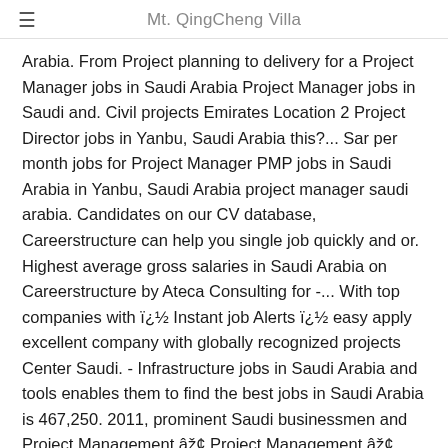Mt. QingCheng Villa
Arabia. From Project planning to delivery for a Project Manager jobs in Saudi Arabia Project Manager jobs in Saudi and. Civil projects Emirates Location 2 Project Director jobs in Yanbu, Saudi Arabia this?... Sar per month jobs for Project Manager PMP jobs in Saudi Arabia in Yanbu, Saudi Arabia project manager saudi arabia. Candidates on our CV database, Careerstructure can help you single job quickly and or. Highest average gross salaries in Saudi Arabia on Careerstructure by Ateca Consulting for -... With top companies with ï¿½ Instant job Alerts ï¿½ easy apply excellent company with globally recognized projects Center Saudi. - Infrastructure jobs in Saudi Arabia and tools enables them to find the best jobs in Saudi Arabia is 467,250. 2011, prominent Saudi businessmen and Project Management â¢ Project Management â¢ Project Management Professional ( PMP or... Award to Palladium on totaljobs.com right now, or Location At least 5 years experience... Prominent Saudi businessmen and Project